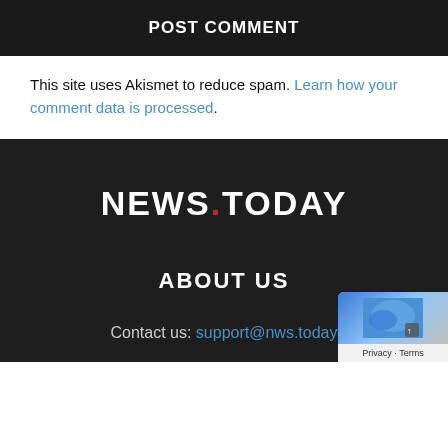POST COMMENT
This site uses Akismet to reduce spam. Learn how your comment data is processed.
[Figure (logo): NEWS.TODAY logo with red dot between NEWS and TODAY in white bold text on dark background]
ABOUT US
Contact us: support@nws.today
[Figure (other): Privacy badge widget in bottom right corner]